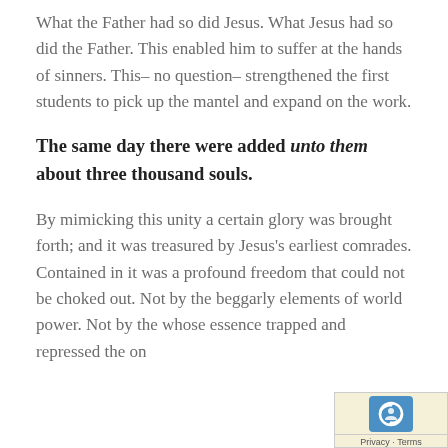What the Father had so did Jesus. What Jesus had so did the Father. This enabled him to suffer at the hands of sinners. This– no question– strengthened the first students to pick up the mantel and expand on the work.
The same day there were added unto them about three thousand souls.
By mimicking this unity a certain glory was brought forth; and it was treasured by Jesus's earliest comrades. Contained in it was a profound freedom that could not be choked out. Not by the beggarly elements of world power. Not by the whose essence trapped and repressed the on
[Figure (logo): Privacy badge with reCAPTCHA-style icon and 'Privacy - Terms' text]